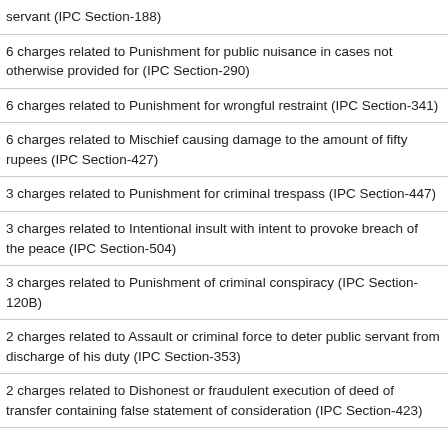servant (IPC Section-188)
6 charges related to Punishment for public nuisance in cases not otherwise provided for (IPC Section-290)
6 charges related to Punishment for wrongful restraint (IPC Section-341)
6 charges related to Mischief causing damage to the amount of fifty rupees (IPC Section-427)
3 charges related to Punishment for criminal trespass (IPC Section-447)
3 charges related to Intentional insult with intent to provoke breach of the peace (IPC Section-504)
3 charges related to Punishment of criminal conspiracy (IPC Section-120B)
2 charges related to Assault or criminal force to deter public servant from discharge of his duty (IPC Section-353)
2 charges related to Dishonest or fraudulent execution of deed of transfer containing false statement of consideration (IPC Section-423)